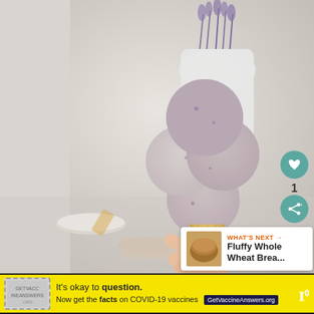[Figure (photo): A hand holding a waffle cone with multiple scoops of lavender/vanilla ice cream. Background shows a white pitcher with dried lavender, plates, and a cup of tea on a light gray/white surface.]
1
WHAT'S NEXT → Fluffy Whole Wheat Brea...
It's okay to question. Now get the facts on COVID-19 vaccines GetVaccineAnswers.org